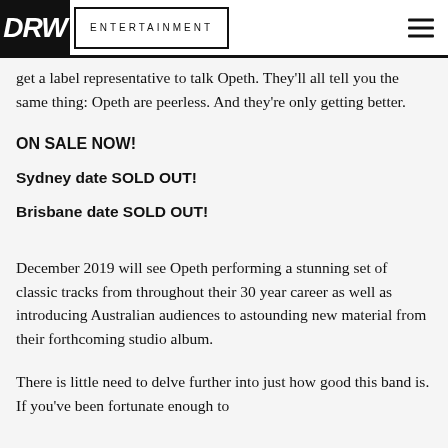DRW ENTERTAINMENT
get a label representative to talk Opeth. They'll all tell you the same thing: Opeth are peerless. And they're only getting better.
ON SALE NOW!
Sydney date SOLD OUT!
Brisbane date SOLD OUT!
December 2019 will see Opeth performing a stunning set of classic tracks from throughout their 30 year career as well as introducing Australian audiences to astounding new material from their forthcoming studio album.
There is little need to delve further into just how good this band is. If you've been fortunate enough to